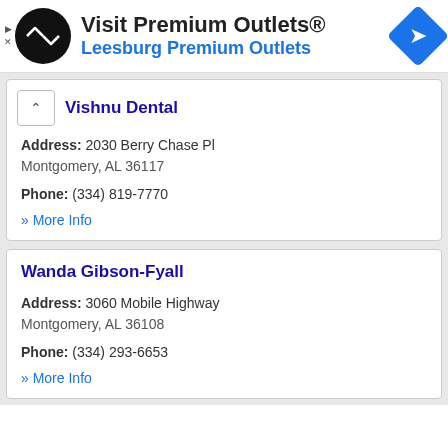[Figure (infographic): Advertisement banner for Visit Premium Outlets - Leesburg Premium Outlets with logo and navigation icon]
Vishnu Dental
Address: 2030 Berry Chase Pl Montgomery, AL 36117
Phone: (334) 819-7770
» More Info
Wanda Gibson-Fyall
Address: 3060 Mobile Highway Montgomery, AL 36108
Phone: (334) 293-6653
» More Info